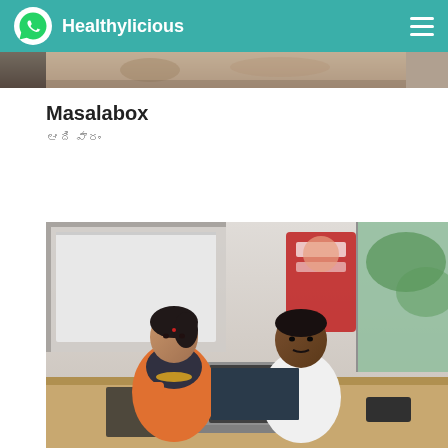Healthylicious
[Figure (photo): Partial top image strip showing food items, cropped at top of page]
Masalabox
ఆదివారం
[Figure (photo): Two people sitting at an office desk with a laptop — a woman in orange saree with gold jewelry and a man in white shirt, with office cubicle background and a red banner visible]